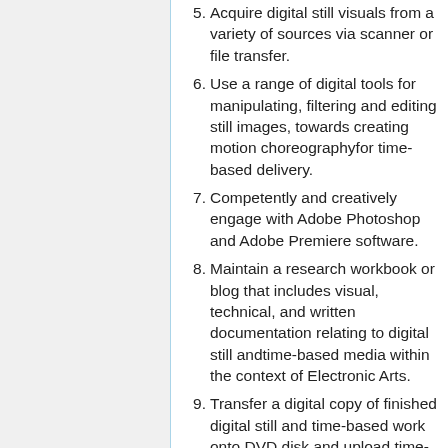5. Acquire digital still visuals from a variety of sources via scanner or file transfer.
6. Use a range of digital tools for manipulating, filtering and editing still images, towards creating motion choreographyfor time-based delivery.
7. Competently and creatively engage with Adobe Photoshop and Adobe Premiere software.
8. Maintain a research workbook or blog that includes visual, technical, and written documentation relating to digital still andtime-based media within the context of Electronic Arts.
9. Transfer a digital copy of finished digital still and time-based work onto DVD disk and upload time-based work to youtube.